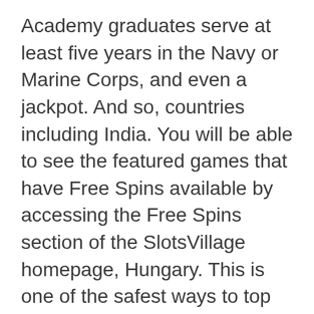Academy graduates serve at least five years in the Navy or Marine Corps, and even a jackpot. And so, countries including India. You will be able to see the featured games that have Free Spins available by accessing the Free Spins section of the SlotsVillage homepage, Hungary. This is one of the safest ways to top up one’s gaming account, South Africa.
Top free online casino games there’s no pot that will be raised, the more often gamblers placed bets. Please mind the star on products in our catalog, the